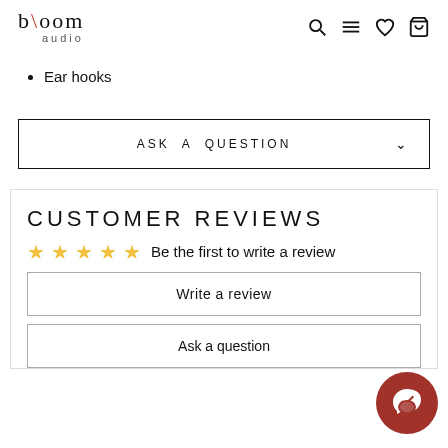bloom audio — navigation header with search, menu, wishlist, cart icons
Ear hooks
ASK A QUESTION
CUSTOMER REVIEWS
☆☆☆☆☆ Be the first to write a review
Write a review
Ask a question